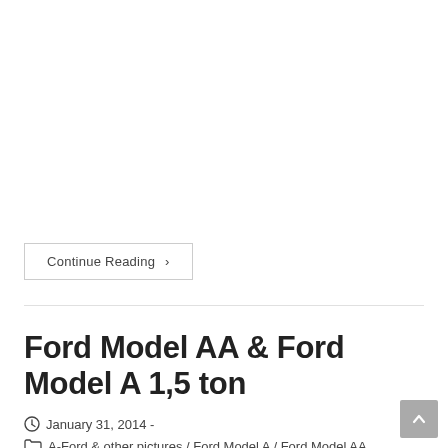Continue Reading ›
Ford Model AA & Ford Model A 1,5 ton
January 31, 2014 -
A-Ford & other pictures / Ford Model A / Ford Model AA